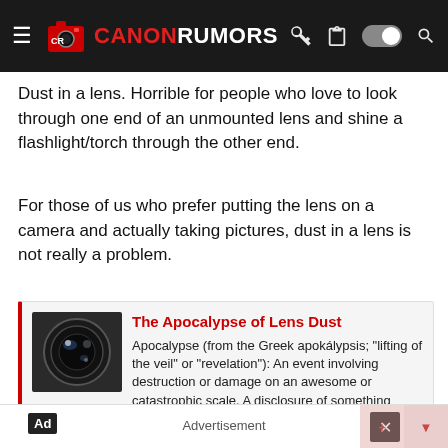CANON RUMORS
Dust in a lens. Horrible for people who love to look through one end of an unmounted lens and shine a flashlight/torch through the other end.
For those of us who prefer putting the lens on a camera and actually taking pictures, dust in a lens is not really a problem.
[Figure (screenshot): Related article card showing 'The Apocalypse of Lens Dust' with a thumbnail of a camera lens element and excerpt text about the definition of apocalypse.]
Ad  Advertisement  ×  11 users